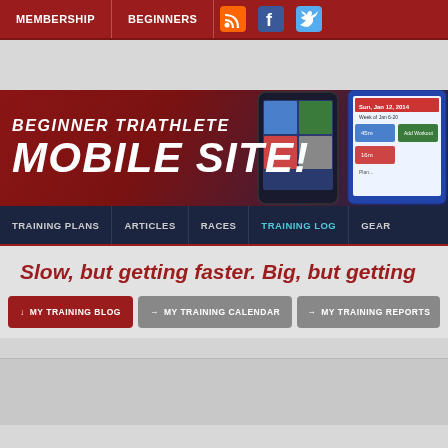MEMBERSHIP | BEGINNERS
[Figure (screenshot): Beginner Triathlete Mobile Site banner with app screenshot showing training calendar]
TRAINING PLANS | ARTICLES | RACES | TRAINING LOG | GEAR
Slow, but getting faster. Big, but getting
↓ MY TRAINING BLOG
→ MY TRAINING CALENDAR
→ MY TRAINING REPORTS